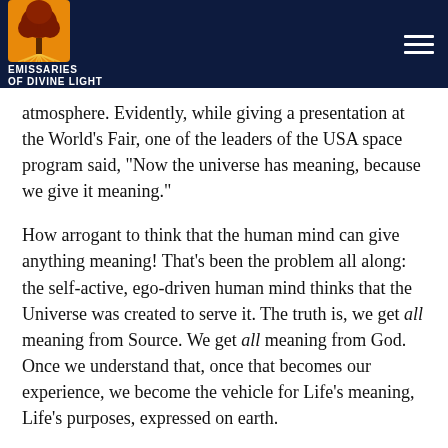EMISSARIES OF DIVINE LIGHT
atmosphere. Evidently, while giving a presentation at the World's Fair, one of the leaders of the USA space program said, “Now the universe has meaning, because we give it meaning.”
How arrogant to think that the human mind can give anything meaning! That’s been the problem all along: the self-active, ego-driven human mind thinks that the Universe was created to serve it. The truth is, we get all meaning from Source. We get all meaning from God. Once we understand that, once that becomes our experience, we become the vehicle for Life’s meaning, Life’s purposes, expressed on earth.